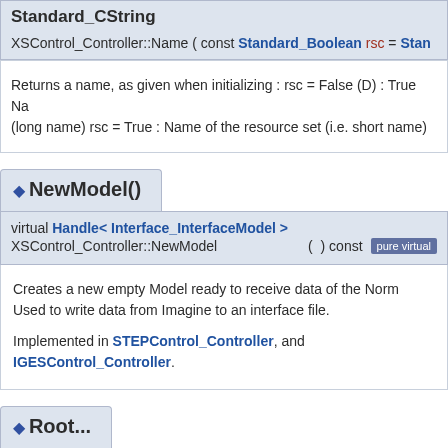Standard_CString
XSControl_Controller::Name ( const Standard_Boolean rsc = Stan
Returns a name, as given when initializing : rsc = False (D) : True Na (long name) rsc = True : Name of the resource set (i.e. short name)
◆ NewModel()
virtual Handle< Interface_InterfaceModel > XSControl_Controller::NewModel ( ) const pure virtual
Creates a new empty Model ready to receive data of the Norm Used to write data from Imagine to an interface file.

Implemented in STEPControl_Controller, and IGESControl_Controller.
◆ Root...()